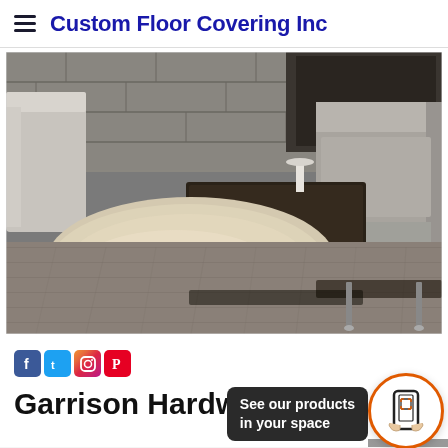Custom Floor Covering Inc
[Figure (photo): Interior living room photo showing gray hardwood flooring with a fluffy beige/cream area rug, modern gray sofa, dark coffee table, and stone/brick wall in the background]
Social media icons: Facebook, Twitter, Instagram, Pinterest
Garrison Hardwood
See our products in your space